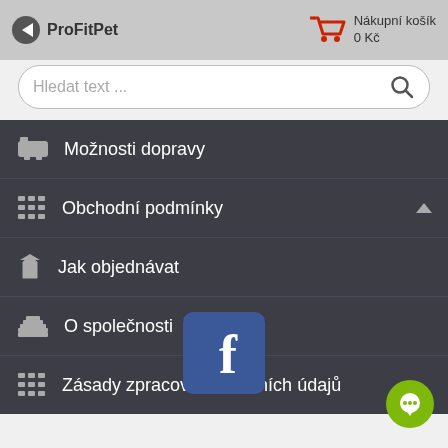ProFitPet  Nákupní košík 0 Kč
Hledat text ...
Možnosti dopravy
Obchodní podmínky
Jak objednávat
O společnosti
Zásady zpracování osobních údajů
[Figure (logo): Facebook logo icon - blue square with white f letter]
[Figure (illustration): Green circular chat/message bubble button]